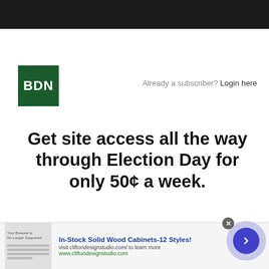[Figure (logo): BDN logo — white bold text 'BDN' on dark green square background]
Already a subscriber? Login here
Get site access all the way through Election Day for only 50¢ a week.
[Figure (infographic): Advertisement bar: In-Stock Solid Wood Cabinets-12 Styles! visit cliftondesignstudio.com/ to learn more www.cliftondesignstudio.com, with thumbnail image and arrow button]